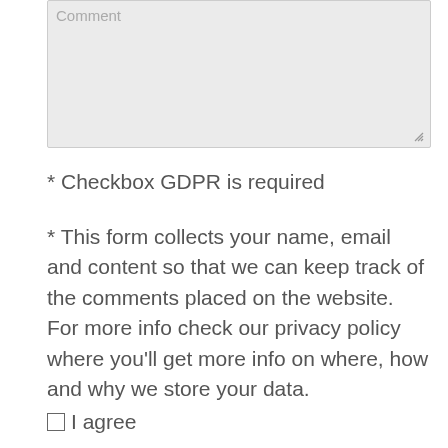Comment (textarea placeholder)
* Checkbox GDPR is required
* This form collects your name, email and content so that we can keep track of the comments placed on the website. For more info check our privacy policy where you'll get more info on where, how and why we store your data.
I agree